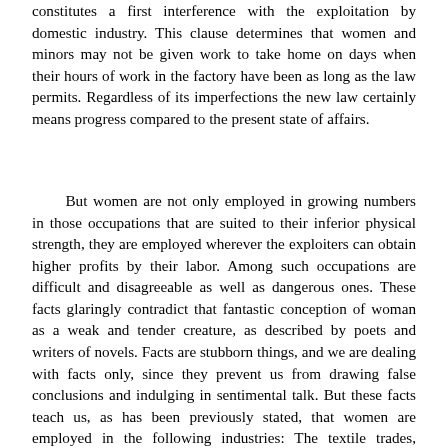constitutes a first interference with the exploitation by domestic industry. This clause determines that women and minors may not be given work to take home on days when their hours of work in the factory have been as long as the law permits. Regardless of its imperfections the new law certainly means progress compared to the present state of affairs.
But women are not only employed in growing numbers in those occupations that are suited to their inferior physical strength, they are employed wherever the exploiters can obtain higher profits by their labor. Among such occupations are difficult and disagreeable as well as dangerous ones. These facts glaringly contradict that fantastic conception of woman as a weak and tender creature, as described by poets and writers of novels. Facts are stubborn things, and we are dealing with facts only, since they prevent us from drawing false conclusions and indulging in sentimental talk. But these facts teach us, as has been previously stated, that women are employed in the following industries: The textile trades, chemical trades, metallurgy, paper industry, machine manufacture, wood work, manufacture of articles of food and luxury, and mining above the ground. In Belgium women over 21 are employed in mining underground also. They are furthermore employed in the wide field of agriculture, horticulture, cattle-breeding, and the numerous trades